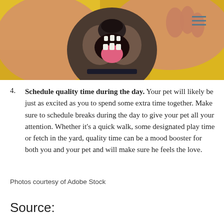[Figure (photo): Close-up photo of a happy dog with mouth open, being held by a person's hands, with yellow background]
4. Schedule quality time during the day. Your pet will likely be just as excited as you to spend some extra time together. Make sure to schedule breaks during the day to give your pet all your attention. Whether it's a quick walk, some designated play time or fetch in the yard, quality time can be a mood booster for both you and your pet and will make sure he feels the love.
Photos courtesy of Adobe Stock
Source: